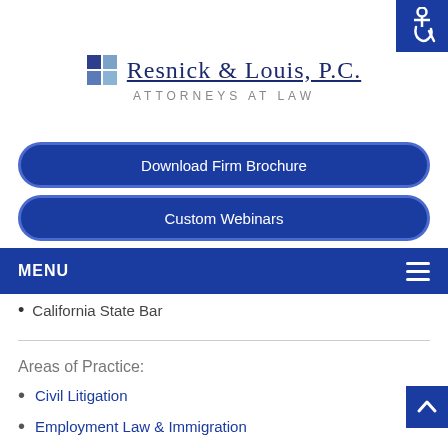[Figure (logo): Resnick & Louis, P.C. Attorneys at Law logo with blue grid squares]
[Figure (illustration): Accessibility wheelchair icon in blue square, top right corner]
Download Firm Brochure
Custom Webinars
MENU
California State Bar
Areas of Practice:
Civil Litigation
Employment Law & Immigration
Employment Litigation